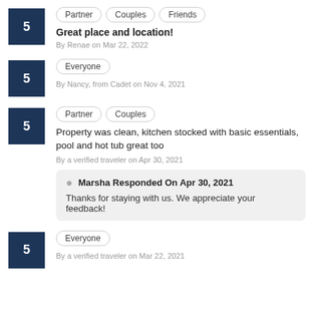5 | Partner Couples Friends
Great place and location!
By Renae on Mar 22, 2022
5 | Everyone
By Nancy, from Cadet on Nov 4, 2021
5 | Partner Couples
Property was clean, kitchen stocked with basic essentials, pool and hot tub great too
By a verified traveler on Apr 30, 2021
Marsha Responded On Apr 30, 2021
Thanks for staying with us. We appreciate your feedback!
5 | Everyone
By a verified traveler on Mar 22, 2021